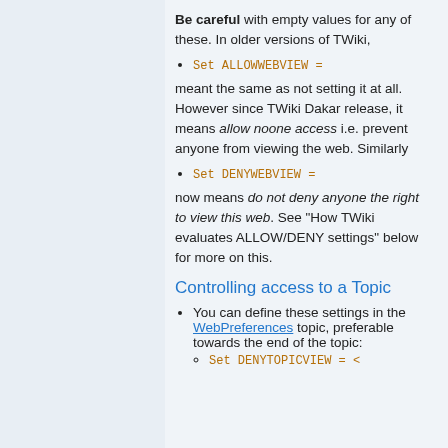Be careful with empty values for any of these. In older versions of TWiki,
Set ALLOWWEBVIEW =
meant the same as not setting it at all. However since TWiki Dakar release, it means allow noone access i.e. prevent anyone from viewing the web. Similarly
Set DENYWEBVIEW =
now means do not deny anyone the right to view this web. See "How TWiki evaluates ALLOW/DENY settings" below for more on this.
Controlling access to a Topic
You can define these settings in the WebPreferences topic, preferable towards the end of the topic:
Set DENYTOPICVIEW = <